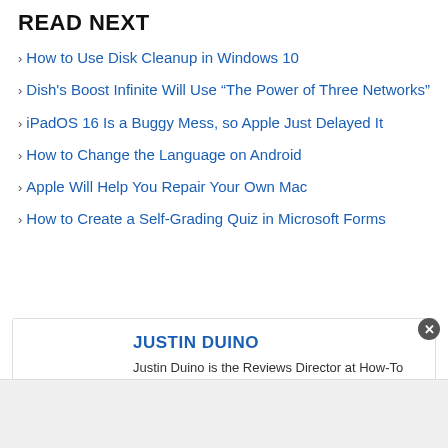READ NEXT
How to Use Disk Cleanup in Windows 10
Dish's Boost Infinite Will Use “The Power of Three Networks”
iPadOS 16 Is a Buggy Mess, so Apple Just Delayed It
How to Change the Language on Android
Apple Will Help You Repair Your Own Mac
How to Create a Self-Grading Quiz in Microsoft Forms
JUSTIN DUINO
Justin Duino is the Reviews Director at How-To Geek (and LifeSavvy Media as a whole). He has spent the last decade…